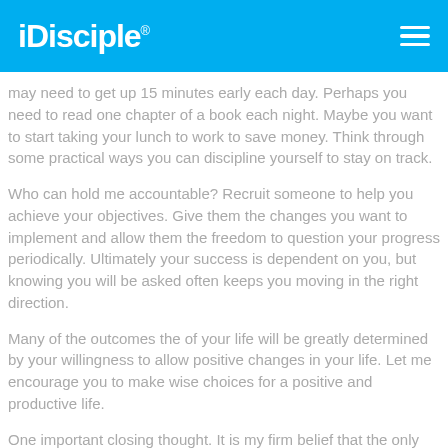iDisciple
may need to get up 15 minutes early each day. Perhaps you need to read one chapter of a book each night. Maybe you want to start taking your lunch to work to save money. Think through some practical ways you can discipline yourself to stay on track.
Who can hold me accountable? Recruit someone to help you achieve your objectives. Give them the changes you want to implement and allow them the freedom to question your progress periodically. Ultimately your success is dependent on you, but knowing you will be asked often keeps you moving in the right direction.
Many of the outcomes the of your life will be greatly determined by your willingness to allow positive changes in your life. Let me encourage you to make wise choices for a positive and productive life.
One important closing thought. It is my firm belief that the only way to experience real life, the way we were intended to live it, is through a personal relationship with Jesus Christ. If you have not done that,